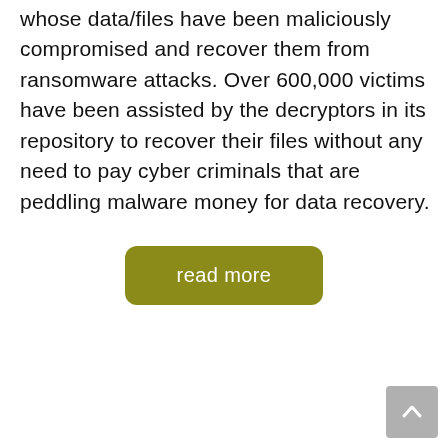whose data/files have been maliciously compromised and recover them from ransomware attacks. Over 600,000 victims have been assisted by the decryptors in its repository to recover their files without any need to pay cyber criminals that are peddling malware money for data recovery.
[Figure (other): A dark olive/yellow-green rounded button with white text reading 'read more']
[Figure (other): A gray square back-to-top button with an upward-pointing chevron arrow in the bottom right corner of the page]